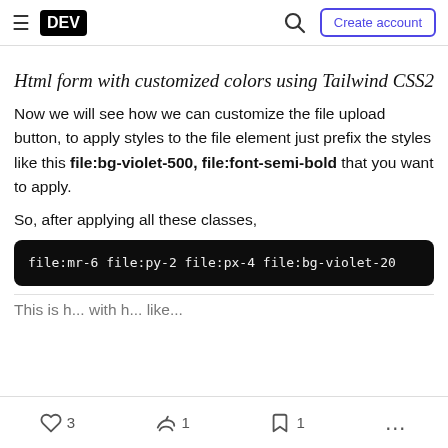DEV | Create account
Html form with customized colors using Tailwind CSS2
Now we will see how we can customize the file upload button, to apply styles to the file element just prefix the styles like this file:bg-violet-500, file:font-semi-bold that you want to apply.
So, after applying all these classes,
[Figure (screenshot): Code block showing: file:mr-6 file:py-2 file:px-4 file:bg-violet-20 (truncated)]
This is h... with h... like...